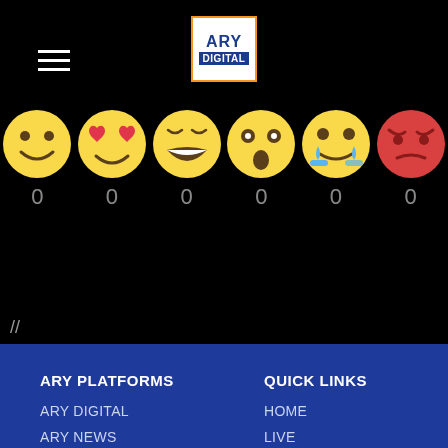[Figure (logo): ARY Digital logo - white box with orange border, ARY in blue and DIGITAL on blue background]
[Figure (infographic): Six emoji reaction faces (smiley, heart-eyes, laughing, surprised, crying, angry) each with count 0 below]
//
ARY PLATFORMS
ARY DIGITAL
ARY NEWS
ARY ZINDAGI
ARY QTV
ARY MUSIK
QUICK LINKS
HOME
LIVE
SCHEDULE
CONTACT US
PRIVACY POLICY
[Figure (infographic): Social share bar with share, Facebook, Twitter, WhatsApp, Messenger icons]